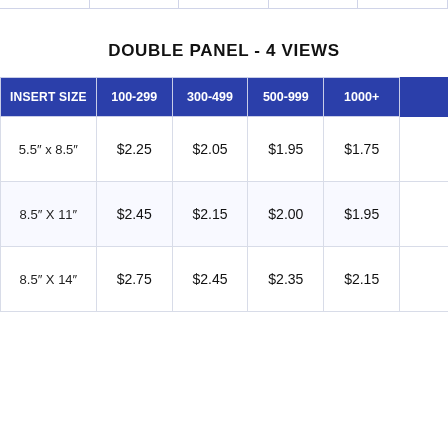DOUBLE PANEL - 4 VIEWS
| INSERT SIZE | 100-299 | 300-499 | 500-999 | 1000+ |  |
| --- | --- | --- | --- | --- | --- |
| 5.5" x 8.5" | $2.25 | $2.05 | $1.95 | $1.75 |  |
| 8.5" X 11" | $2.45 | $2.15 | $2.00 | $1.95 |  |
| 8.5" X 14" | $2.75 | $2.45 | $2.35 | $2.15 |  |